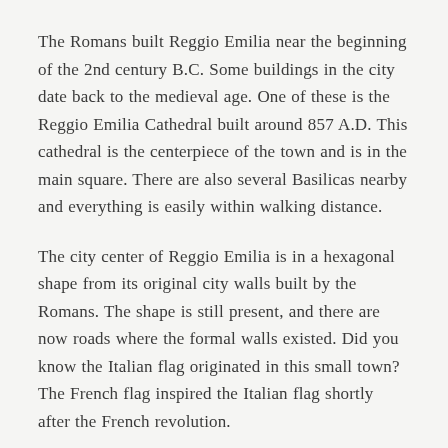The Romans built Reggio Emilia near the beginning of the 2nd century B.C. Some buildings in the city date back to the medieval age. One of these is the Reggio Emilia Cathedral built around 857 A.D. This cathedral is the centerpiece of the town and is in the main square. There are also several Basilicas nearby and everything is easily within walking distance.
The city center of Reggio Emilia is in a hexagonal shape from its original city walls built by the Romans. The shape is still present, and there are now roads where the formal walls existed. Did you know the Italian flag originated in this small town? The French flag inspired the Italian flag shortly after the French revolution.